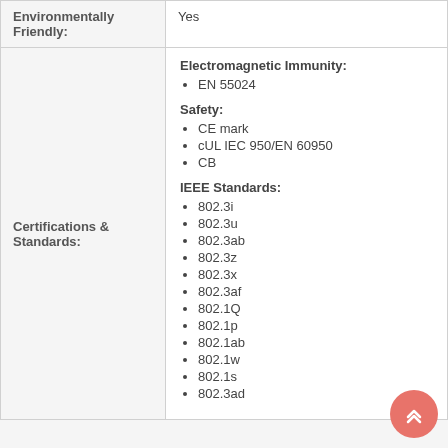| Environmentally Friendly: | Yes |
| Certifications & Standards: | Electromagnetic Immunity:
• EN 55024

Safety:
• CE mark
• cUL IEC 950/EN 60950
• CB

IEEE Standards:
• 802.3i
• 802.3u
• 802.3ab
• 802.3z
• 802.3x
• 802.3af
• 802.1Q
• 802.1p
• 802.1ab
• 802.1w
• 802.1s
• 802.3ad |